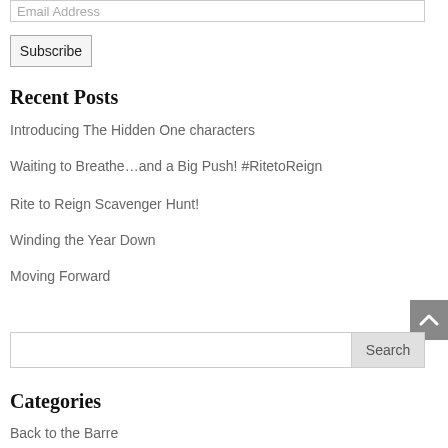Email Address
Subscribe
Recent Posts
Introducing The Hidden One characters
Waiting to Breathe…and a Big Push! #RitetoReign
Rite to Reign Scavenger Hunt!
Winding the Year Down
Moving Forward
Search
Categories
Back to the Barre